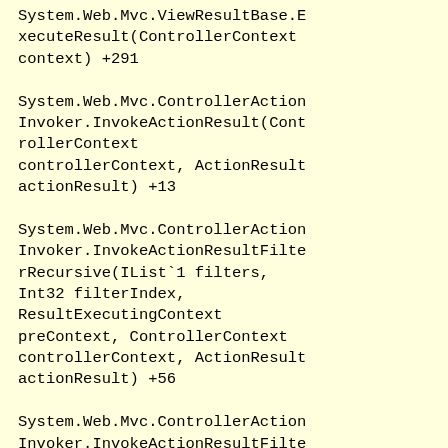System.Web.Mvc.ViewResultBase.ExecuteResult(ControllerContext context) +291
System.Web.Mvc.ControllerActionInvoker.InvokeActionResult(ControllerContext controllerContext, ActionResult actionResult) +13
System.Web.Mvc.ControllerActionInvoker.InvokeActionResultFilterRecursive(IList`1 filters, Int32 filterIndex, ResultExecutingContext preContext, ControllerContext controllerContext, ActionResult actionResult) +56
System.Web.Mvc.ControllerActionInvoker.InvokeActionResultFilterRecursive(IList`1 filters, Int32 filterIndex, ResultExecutingContext preContext, ControllerContext